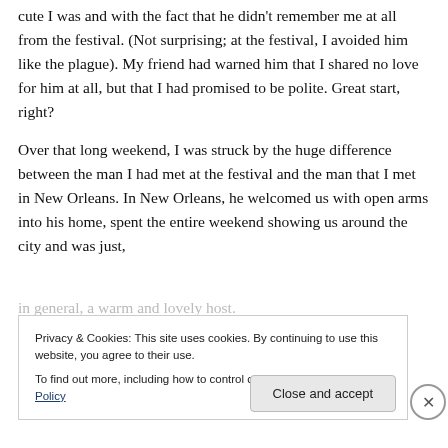cute I was and with the fact that he didn't remember me at all from the festival. (Not surprising; at the festival, I avoided him like the plague). My friend had warned him that I shared no love for him at all, but that I had promised to be polite. Great start, right?
Over that long weekend, I was struck by the huge difference between the man I had met at the festival and the man that I met in New Orleans. In New Orleans, he welcomed us with open arms into his home, spent the entire weekend showing us around the city and was just, in general, a warm and lovely host.
[Figure (screenshot): Cookie consent banner overlay: 'Privacy & Cookies: This site uses cookies. By continuing to use this website, you agree to their use. To find out more, including how to control cookies, see here: Cookie Policy' with a close (X) button and a 'Close and accept' button.]